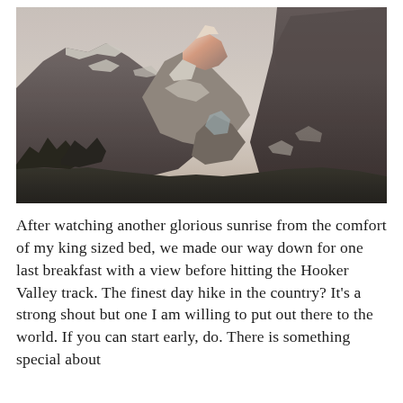[Figure (photo): Mountain landscape photograph showing snow-capped peaks, glaciers, and rocky ridgelines under a pale sky, with dark forested foreground. The central peak is illuminated with warm light suggesting sunrise or sunset.]
After watching another glorious sunrise from the comfort of my king sized bed, we made our way down for one last breakfast with a view before hitting the Hooker Valley track. The finest day hike in the country? It's a strong shout but one I am willing to put out there to the world. If you can start early, do. There is something special about